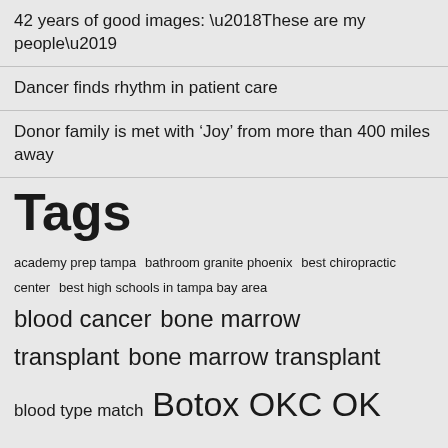42 years of good images: ‘These are my people’
Dancer finds rhythm in patient care
Donor family is met with ‘Joy’ from more than 400 miles away
Tags
academy prep tampa  bathroom granite phoenix  best chiropractic center  best high schools in tampa bay area  blood cancer  bone marrow transplant  bone marrow transplant blood type match  Botox OKC OK